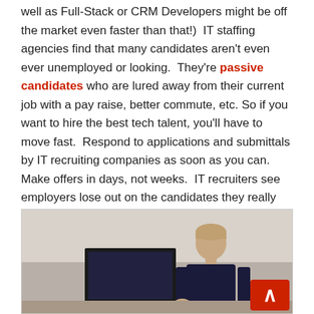well as Full-Stack or CRM Developers might be off the market even faster than that!)  IT staffing agencies find that many candidates aren't even ever unemployed or looking.  They're passive candidates who are lured away from their current job with a pay raise, better commute, etc. So if you want to hire the best tech talent, you'll have to move fast.  Respond to applications and submittals by IT recruiting companies as soon as you can.  Make offers in days, not weeks.  IT recruiters see employers lose out on the candidates they really want all to frequently because they just took too long.
[Figure (photo): A person sitting at a desk working at a computer monitor in an office setting. A red logo with a caret/arrow symbol appears in the bottom right corner of the image.]